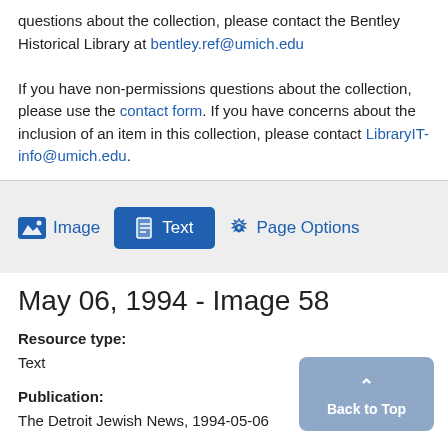questions about the collection, please contact the Bentley Historical Library at bentley.ref@umich.edu
If you have non-permissions questions about the collection, please use the contact form. If you have concerns about the inclusion of an item in this collection, please contact LibraryIT-info@umich.edu.
[Figure (other): Navigation tab bar with Image, Text (active/highlighted in blue), and Page Options buttons on a gray background]
May 06, 1994 - Image 58
Resource type:
Text
Publication:
The Detroit Jewish News, 1994-05-06